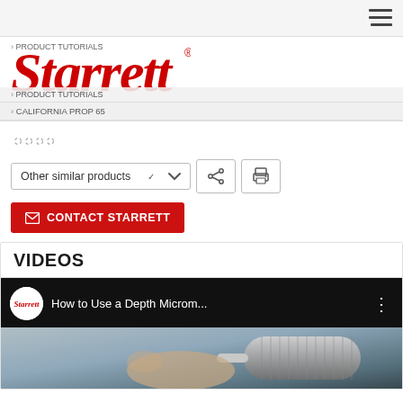[Figure (logo): Starrett brand logo in red italic serif font with registered trademark symbol]
PRODUCT TUTORIALS
CALIFORNIA PROP 65
[Figure (other): Loading spinner dots]
Other similar products
[Figure (screenshot): Video thumbnail for 'How to Use a Depth Microm...' on the Starrett YouTube channel, showing a depth micrometer tool]
VIDEOS